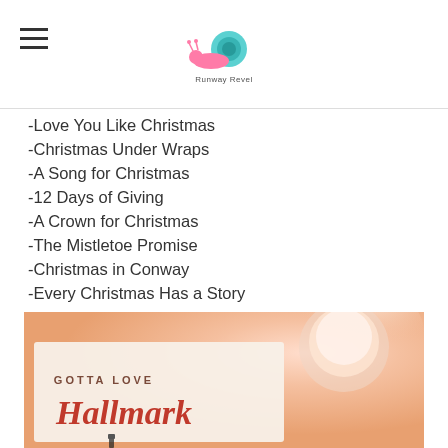[Runway Revel logo - snail illustration]
-Love You Like Christmas
-Christmas Under Wraps
-A Song for Christmas
-12 Days of Giving
-A Crown for Christmas
-The Mistletoe Promise
-Christmas in Conway
-Every Christmas Has a Story
[Figure (photo): Photo of a handwritten card reading 'GOTTA LOVE Hallmark' in calligraphy, next to a glowing candle jar with a warm orange glow background]